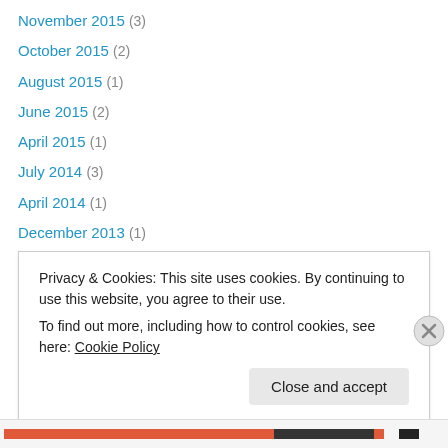November 2015 (3)
October 2015 (2)
August 2015 (1)
June 2015 (2)
April 2015 (1)
July 2014 (3)
April 2014 (1)
December 2013 (1)
November 2013 (2)
October 2013 (3)
September 2013 (1)
August 2013 (2)
February 2013 (1)
Privacy & Cookies: This site uses cookies. By continuing to use this website, you agree to their use. To find out more, including how to control cookies, see here: Cookie Policy
Close and accept